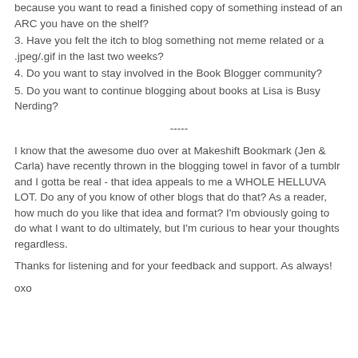because you want to read a finished copy of something instead of an ARC you have on the shelf?
3. Have you felt the itch to blog something not meme related or a .jpeg/.gif in the last two weeks?
4. Do you want to stay involved in the Book Blogger community?
5. Do you want to continue blogging about books at Lisa is Busy Nerding?
-----
I know that the awesome duo over at Makeshift Bookmark (Jen & Carla) have recently thrown in the blogging towel in favor of a tumblr and I gotta be real - that idea appeals to me a WHOLE HELLUVA LOT. Do any of you know of other blogs that do that? As a reader, how much do you like that idea and format? I'm obviously going to do what I want to do ultimately, but I'm curious to hear your thoughts regardless.
Thanks for listening and for your feedback and support. As always!
oxo